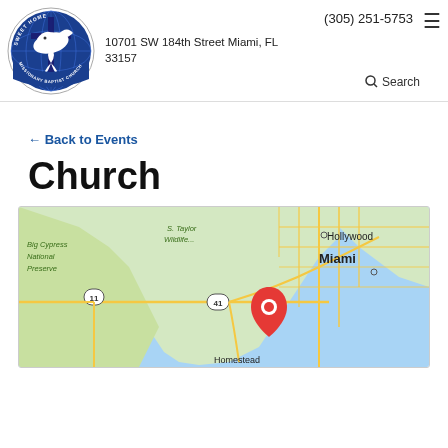[Figure (logo): Sweet Home Missionary Baptist Church circular logo with dove and cross on blue globe background]
(305) 251-5753
10701 SW 184th Street Miami, FL 33157
≡
🔍 Search
← Back to Events
Church
[Figure (map): Google Maps screenshot showing Miami and surrounding area including Hollywood, Homestead, Big Cypress National Preserve, S. Taylor Wildlife area, with route 41 visible and a red map pin marker near SW Miami area]